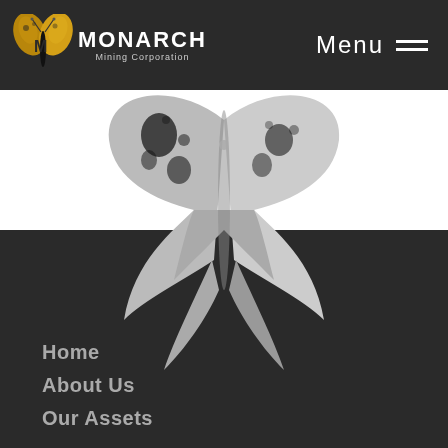[Figure (logo): Monarch Mining Corporation logo in header — gold/black butterfly-like M symbol with MONARCH text and Mining Corporation subtitle]
Menu
[Figure (illustration): Large grayscale Monarch Mining Corporation butterfly/M logo spanning white and dark sections of the page]
Home
About Us
Our Assets